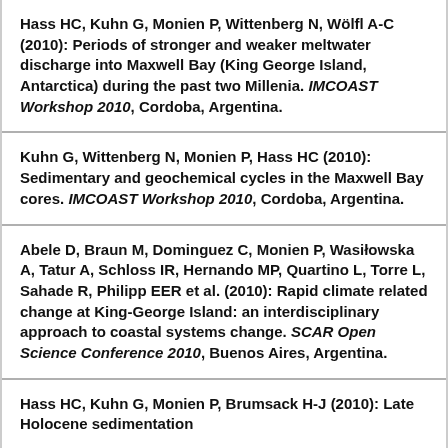Hass HC, Kuhn G, Monien P, Wittenberg N, Wölfl A-C (2010): Periods of stronger and weaker meltwater discharge into Maxwell Bay (King George Island, Antarctica) during the past two Millenia. IMCOAST Workshop 2010, Cordoba, Argentina.
Kuhn G, Wittenberg N, Monien P, Hass HC (2010): Sedimentary and geochemical cycles in the Maxwell Bay cores. IMCOAST Workshop 2010, Cordoba, Argentina.
Abele D, Braun M, Dominguez C, Monien P, Wasiłowska A, Tatur A, Schloss IR, Hernando MP, Quartino L, Torre L, Sahade R, Philipp EER et al. (2010): Rapid climate related change at King-George Island: an interdisciplinary approach to coastal systems change. SCAR Open Science Conference 2010, Buenos Aires, Argentina.
Hass HC, Kuhn G, Monien P, Brumsack H-J (2010): Late Holocene sedimentation...